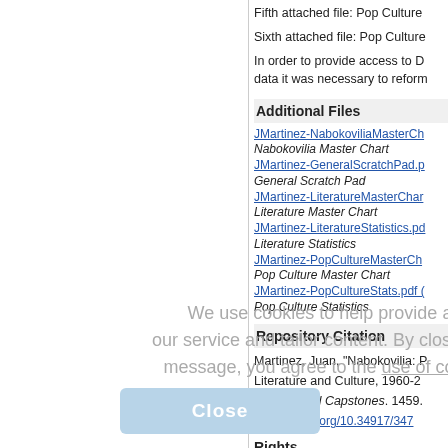Fifth attached file: Pop Culture
Sixth attached file: Pop Culture
In order to provide access to D data it was necessary to reform
Additional Files
JMartinez-NabokoviliaMasterCh
Nabokovilia Master Chart
JMartinez-GeneralScratchPad.p
General Scratch Pad
JMartinez-LiteratureMasterChar
Literature Master Chart
JMartinez-LiteratureStatistics.pd
Literature Statistics
JMartinez-PopCultureMasterCh
Pop Culture Master Chart
JMartinez-PopCultureStats.pdf
Pop Culture Statistics
Repository Citation
Martinez, Juan, "Nabokovilia: P
Literature and Culture, 1960-2
Papers, and Capstones. 1459.
http://dx.doi.org/10.34917/347
Rights
We use cookies to help provide and our service and tailor content. By closing this message, you agree to the use of cookies
Close